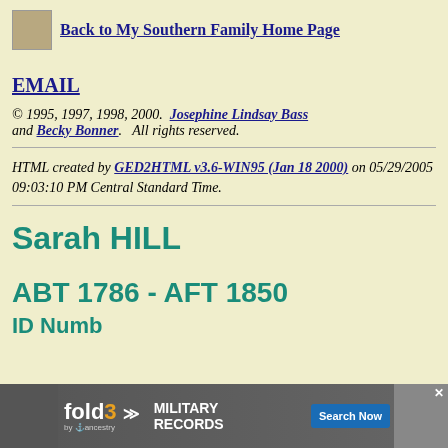Back to My Southern Family Home Page
EMAIL
© 1995, 1997, 1998, 2000. Josephine Lindsay Bass and Becky Bonner. All rights reserved.
HTML created by GED2HTML v3.6-WIN95 (Jan 18 2000) on 05/29/2005 09:03:10 PM Central Standard Time.
Sarah HILL
ABT 1786 - AFT 1850
ID Numb
[Figure (other): Fold3 by Ancestry military records advertisement banner at bottom of page]